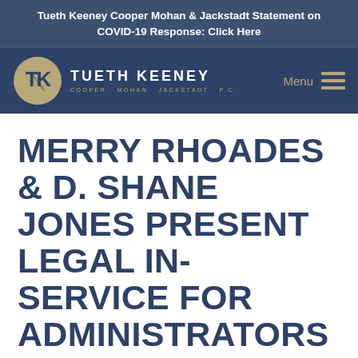Tueth Keeney Cooper Mohan & Jackstadt Statement on COVID-19 Response: Click Here
[Figure (logo): Tueth Keeney Cooper Mohan Jackstadt P.C. law firm logo — a gold circle with a stylized TK monogram, next to the firm name in white and gold lettering, with a Menu hamburger icon on the right.]
MERRY RHOADES & D. SHANE JONES PRESENT LEGAL IN-SERVICE FOR ADMINISTRATORS IN THE MASSAC...